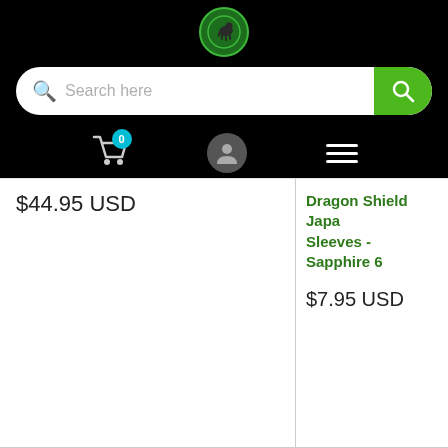[Figure (screenshot): E-commerce website screenshot showing navigation bar with logo, search bar, cart icon, user icon, and hamburger menu on black background]
$44.95 USD
Dragon Shield Japan Sleeves - Sapphire 60
$7.95 USD
ABOUT
Find Us→